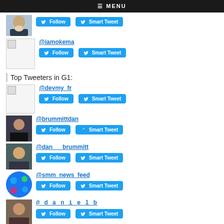≡ MENU
[Figure (photo): Profile photo of a man in a suit]
Follow | Smart Tweet
@iamokema
Follow | Smart Tweet
Top Tweeters in G1:
@devmy_fr
Follow | Smart Tweet
@brummittdan
Follow | Smart Tweet
@dan___brummitt
Follow | Smart Tweet
@smm_news_feed
Follow | Smart Tweet
@_d_a_n_i_e_l_b
Follow | Smart Tweet
@thic0499154500